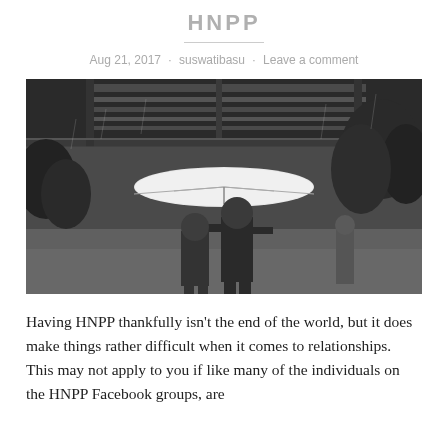HNPP
Aug 21, 2017 · suswatibasu · Leave a comment
[Figure (photo): Black and white photograph of two people walking under a white umbrella in the rain, viewed from behind, with a bridge or overpass structure and trees in the background.]
Having HNPP thankfully isn't the end of the world, but it does make things rather difficult when it comes to relationships. This may not apply to you if like many of the individuals on the HNPP Facebook groups, are